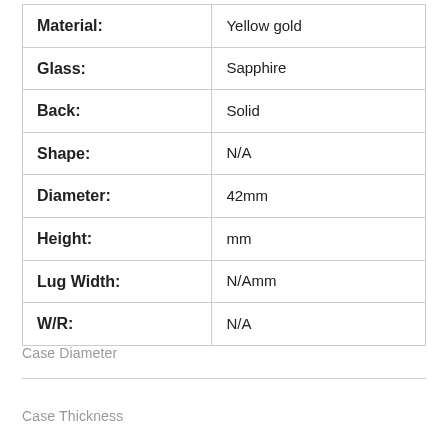| Property | Value |
| --- | --- |
| Material: | Yellow gold |
| Glass: | Sapphire |
| Back: | Solid |
| Shape: | N/A |
| Diameter: | 42mm |
| Height: | mm |
| Lug Width: | N/Amm |
| W/R: | N/A |
Case Diameter
Case Thickness